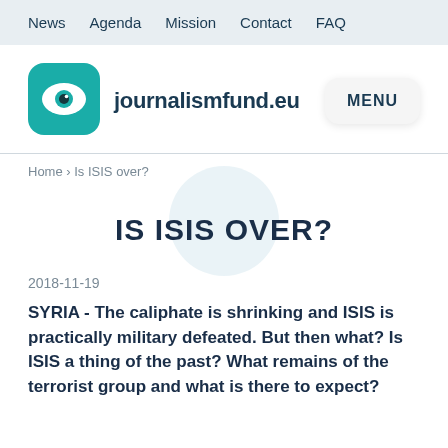News  Agenda  Mission  Contact  FAQ
[Figure (logo): journalismfund.eu logo: teal rounded square with eye icon]
journalismfund.eu
MENU
Home › Is ISIS over?
IS ISIS OVER?
2018-11-19
SYRIA - The caliphate is shrinking and ISIS is practically military defeated. But then what? Is ISIS a thing of the past? What remains of the terrorist group and what is there to expect?